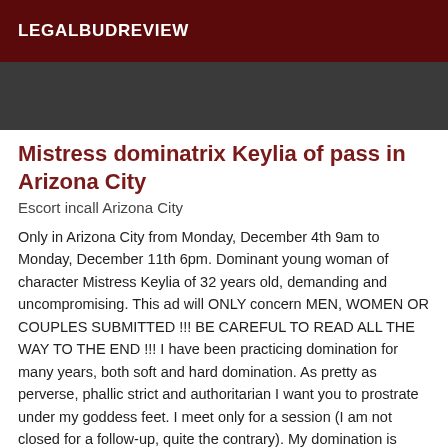LEGALBUDREVIEW
[Figure (photo): Dark background image strip, partial view of a person]
Mistress dominatrix Keylia of pass in Arizona City
Escort incall Arizona City
Only in Arizona City from Monday, December 4th 9am to Monday, December 11th 6pm. Dominant young woman of character Mistress Keylia of 32 years old, demanding and uncompromising. This ad will ONLY concern MEN, WOMEN OR COUPLES SUBMITTED !!! BE CAREFUL TO READ ALL THE WAY TO THE END !!! I have been practicing domination for many years, both soft and hard domination. As pretty as perverse, phallic strict and authoritarian I want you to prostrate under my goddess feet. I meet only for a session (I am not closed for a follow-up, quite the contrary). My domination is subtle and above all cerebral more than physical. I want you to be docile and obedient during the session, clean it goes